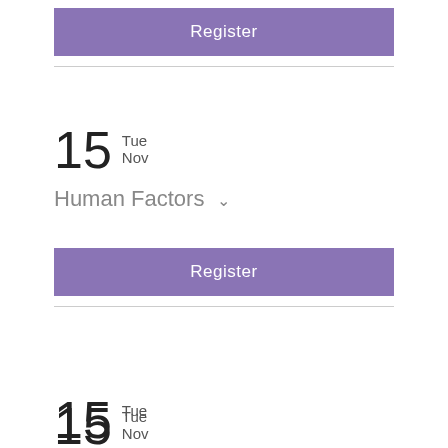[Figure (screenshot): Purple Register button]
15 Tue Nov
Human Factors
[Figure (screenshot): Purple Register button]
15 Tue Nov
Virtual Dementia Tour
[Figure (screenshot): Purple Register button with scroll-to-top arrow overlay]
15 Tue